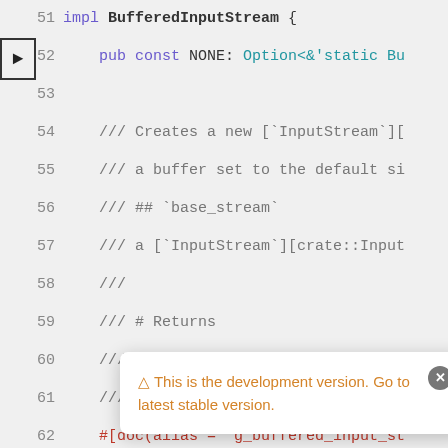[Figure (screenshot): Screenshot of Rust source code showing BufferedInputStream implementation with line numbers 51-69, a navigation arrow on line 52, doc comments, attributes, and function definitions. An orange warning tooltip overlay reads: 'This is the development version. Go to latest stable version.']